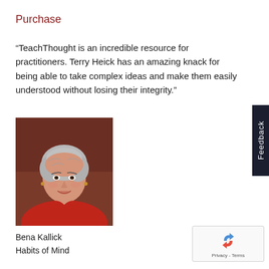Purchase
“TeachThought is an incredible resource for practitioners. Terry Heick has an amazing knack for being able to take complex ideas and make them easily understood without losing their integrity.”
[Figure (photo): Portrait photo of a woman with short gray hair, wearing a red top, smiling. Background is dark reddish-brown.]
Bena Kallick
Habits of Mind